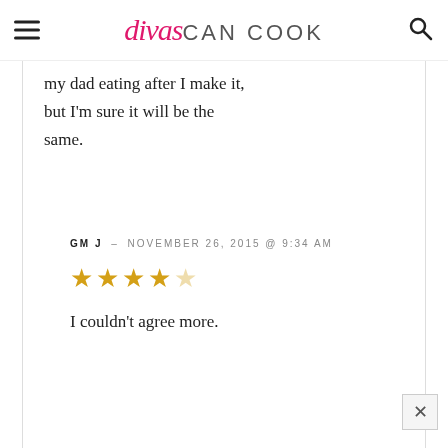divas CAN COOK
my dad eating after I make it, but I'm sure it will be the same.
GM J – NOVEMBER 26, 2015 @ 9:34 AM
★★★★☆
I couldn't agree more.